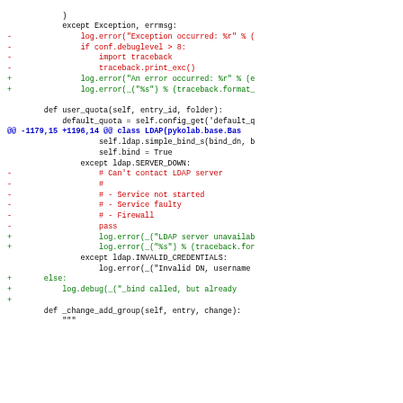Code diff showing changes to Python LDAP binding and quota handling code